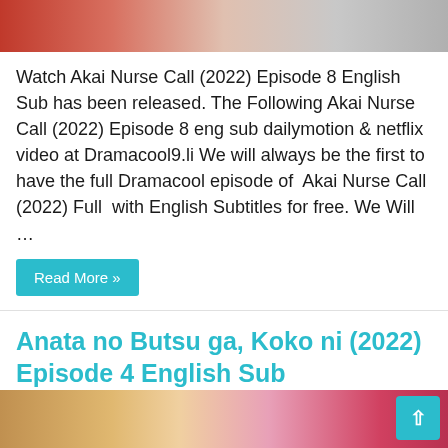[Figure (photo): Partial view of a photo at the top of the page, showing people]
Watch Akai Nurse Call (2022) Episode 8 English Sub has been released. The Following Akai Nurse Call (2022) Episode 8 eng sub dailymotion & netflix video at Dramacool9.li We will always be the first to have the full Dramacool episode of  Akai Nurse Call (2022) Full  with English Subtitles for free. We Will …
Read More »
Anata no Butsu ga, Koko ni (2022) Episode 4 English Sub
4 days ago   Dramacool
Comments Offon Anata no Butsu ga, Koko ni (2022) Episode 4 English Sub
[Figure (photo): Partial view of a photo at the bottom of the page]